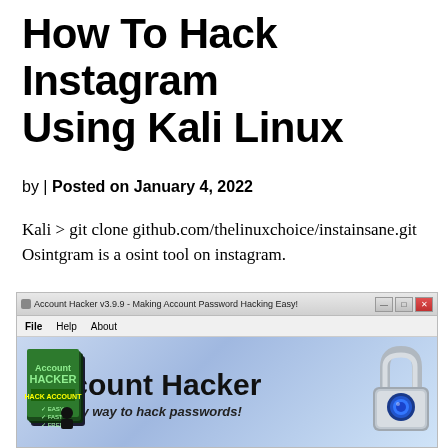How To Hack Instagram Using Kali Linux
by | Posted on January 4, 2022
Kali > git clone github.com/thelinuxchoice/instainsane.git
Osintgram is a osint tool on instagram.
[Figure (screenshot): Screenshot of 'Account Hacker v3.9.9 - Making Account Password Hacking Easy!' application window with banner showing 'Account Hacker' and 'The easy way to hack passwords!', with an overlaid dialog box titled 'Account Hacker v3.9.9 - View Passwords' showing 'View Password Data' with Username field containing 'paolatamb1987@hotmail.com' circled in red.]